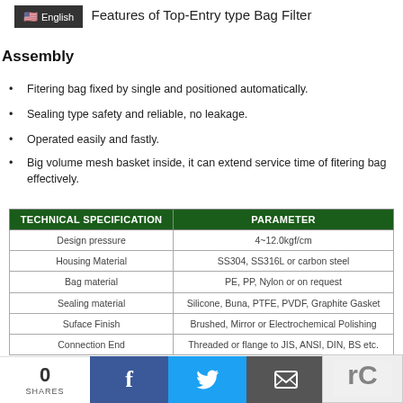English
Features of Top-Entry type Bag Filter
Assembly
Fitering bag fixed by single and positioned automatically.
Sealing type safety and reliable, no leakage.
Operated easily and fastly.
Big volume mesh basket inside, it can extend service time of fitering bag effectively.
| TECHNICAL SPECIFICATION | PARAMETER |
| --- | --- |
| Design pressure | 4~12.0kgf/cm |
| Housing Material | SS304, SS316L or carbon steel |
| Bag material | PE, PP, Nylon or on request |
| Sealing material | Silicone, Buna, PTFE, PVDF, Graphite Gasket |
| Suface Finish | Brushed, Mirror or Electrochemical Polishing |
| Connection End | Threaded or flange to JIS, ANSI, DIN, BS etc. |
Application of Top-Entry type Single Bag Filter Housing
0 SHARES